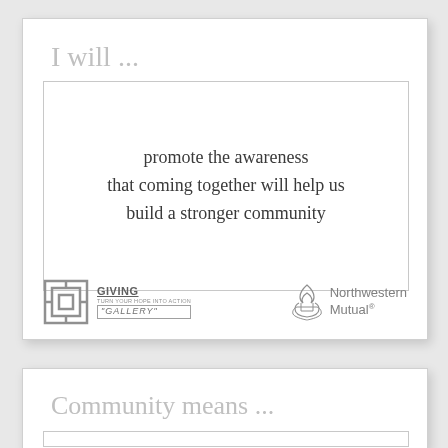I will ...
promote the awareness that coming together will help us build a stronger community
[Figure (logo): Giving Gallery logo - Turn Your Hope Into Action]
[Figure (logo): Northwestern Mutual logo]
Community means ...